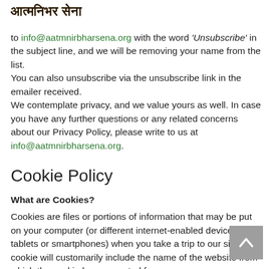आत्मनिभर सेना
to info@aatmnirbharsena.org with the word 'Unsubscribe' in the subject line, and we will be removing your name from the list. You can also unsubscribe via the unsubscribe link in the emailer received. We contemplate privacy, and we value yours as well. In case you have any further questions or any related concerns about our Privacy Policy, please write to us at info@aatmnirbharsena.org.
Cookie Policy
What are Cookies?
Cookies are files or portions of information that may be put on your computer (or different internet-enabled devices, like tablets or smartphones) when you take a trip to our site. A cookie will customarily include the name of the website from which the cookie has emanated from